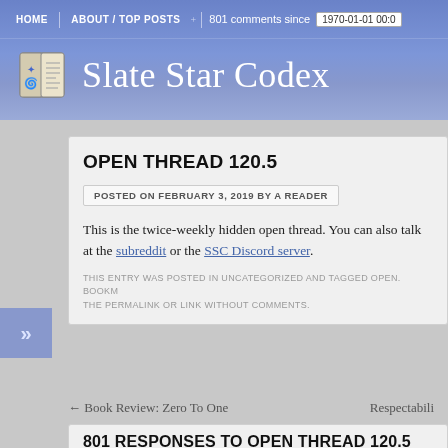HOME | ABOUT / TOP POSTS | 801 comments since 1970-01-01 00:0
Slate Star Codex
OPEN THREAD 120.5
POSTED ON FEBRUARY 3, 2019 BY A READER
This is the twice-weekly hidden open thread. You can also talk at the subreddit or the SSC Discord server.
THIS ENTRY WAS POSTED IN UNCATEGORIZED AND TAGGED OPEN. BOOKMARK THE PERMALINK OR LINK WITHOUT COMMENTS.
← Book Review: Zero To One
Respectabili
801 RESPONSES TO OPEN THREAD 120.5